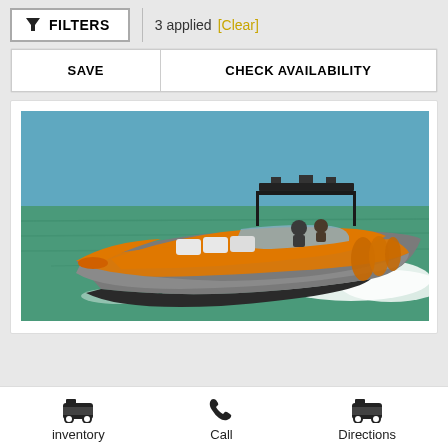FILTERS | 3 applied [Clear]
SAVE | CHECK AVAILABILITY
[Figure (photo): A high-speed orange and gray speedboat with a T-top/hardtop and orange bumpers racing across teal/green ocean water with a white wake behind it, viewed from a 3/4 front angle. Several crew members visible on the deck.]
inventory  Call  Directions